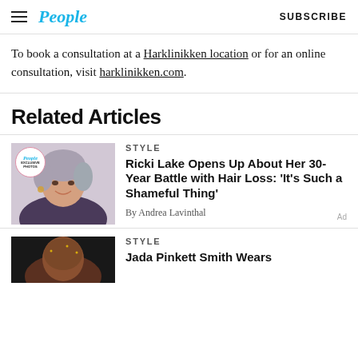People | SUBSCRIBE
To book a consultation at a Harklinikken location or for an online consultation, visit harklinikken.com.
Related Articles
[Figure (photo): Ricki Lake smiling, short gray hair, wearing floral top; People Exclusive Photos badge overlay]
STYLE
Ricki Lake Opens Up About Her 30-Year Battle with Hair Loss: ‘It’s Such a Shameful Thing’
By Andrea Lavinthal
[Figure (photo): Jada Pinkett Smith with shaved head, partial view]
STYLE
Jada Pinkett Smith Wears